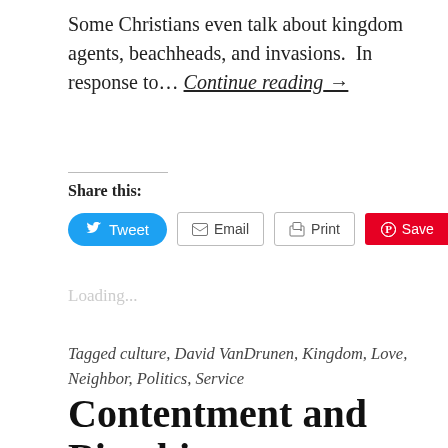Some Christians even talk about kingdom agents, beachheads, and invasions. In response to… Continue reading →
Share this:
[Figure (other): Social share buttons: Tweet (Twitter/blue), Email (outlined), Print (outlined), Save (Pinterest/red)]
Loading…
Tagged culture, David VanDrunen, Kingdom, Love, Neighbor, Politics, Service
Contentment and Bioethics